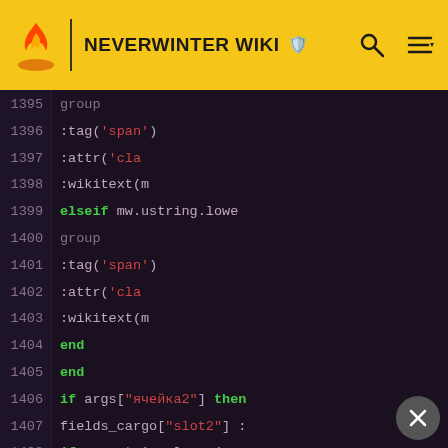NEVERWINTER WIKI
[Figure (screenshot): Code editor screenshot showing Lua/wiki script lines 1395-1413 with syntax highlighting on dark background. Keywords like elseif, end, if, then are highlighted in green; string literals like 'span' and "ячейка2" and "slot2" are in red; other identifiers in grey/purple.]